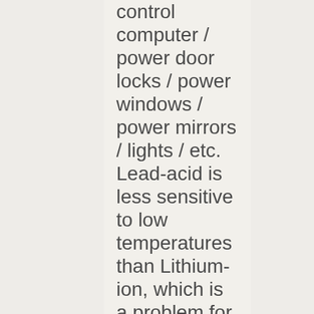control computer / power door locks / power windows / power mirrors / lights / etc. Lead-acid is less sensitive to low temperatures than Lithium-ion, which is a problem for everyone living in colder climates, to include much of the US, Canada, Europe, Russia, and various other